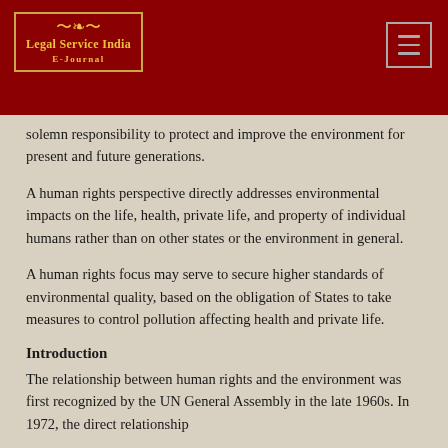[Figure (logo): Legal Service India E-Journal logo with decorative swirl and gold border on dark red background]
solemn responsibility to protect and improve the environment for present and future generations.
A human rights perspective directly addresses environmental impacts on the life, health, private life, and property of individual humans rather than on other states or the environment in general.
A human rights focus may serve to secure higher standards of environmental quality, based on the obligation of States to take measures to control pollution affecting health and private life.
Introduction
The relationship between human rights and the environment was first recognized by the UN General Assembly in the late 1960s. In 1972, the direct relationship